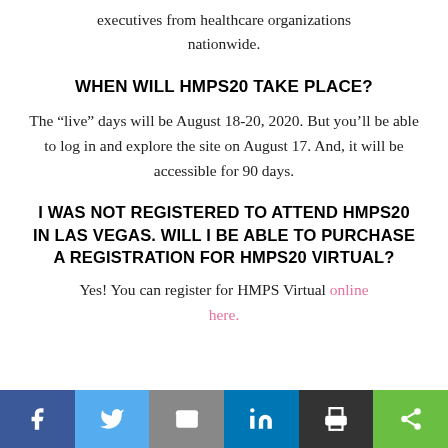executives from healthcare organizations nationwide.
WHEN WILL HMPS20 TAKE PLACE?
The “live” days will be August 18-20, 2020. But you’ll be able to log in and explore the site on August 17. And, it will be accessible for 90 days.
I WAS NOT REGISTERED TO ATTEND HMPS20 IN LAS VEGAS. WILL I BE ABLE TO PURCHASE A REGISTRATION FOR HMPS20 VIRTUAL?
Yes! You can register for HMPS Virtual online here.
[Figure (infographic): Social media sharing bar with Facebook, Twitter, Email, LinkedIn, Print, and Share buttons]